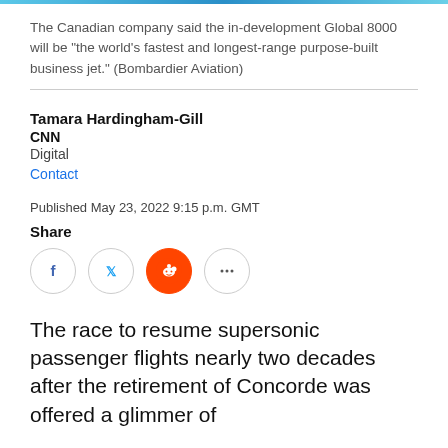[Figure (photo): Top image bar cropped at top of page]
The Canadian company said the in-development Global 8000 will be "the world's fastest and longest-range purpose-built business jet." (Bombardier Aviation)
Tamara Hardingham-Gill
CNN
Digital
Contact
Published May 23, 2022 9:15 p.m. GMT
Share
[Figure (infographic): Social share buttons: Facebook, Twitter, Reddit, More (...)]
The race to resume supersonic passenger flights nearly two decades after the retirement of Concorde was offered a glimmer of